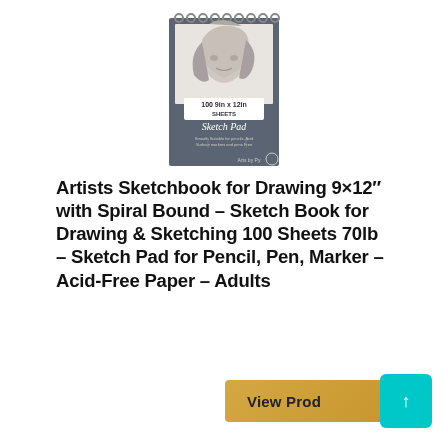[Figure (photo): A spiral-bound sketch pad with a dark gray cover featuring a pencil drawing of a woman with flowing hair. The cover reads '100 9in x 12in SHEETS', 'Sketch Pad', 'Smooth Surface | Suitable for pencils, markers and pens | Acid Free', and 'Arts by Py' with a logo.]
Artists Sketchbook for Drawing 9×12″ with Spiral Bound – Sketch Book for Drawing & Sketching 100 Sheets 70lb – Sketch Pad for Pencil, Pen, Marker – Acid-Free Paper – Adults